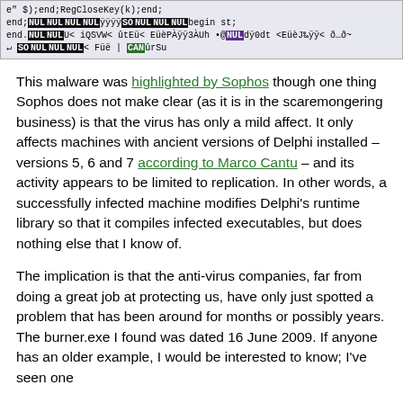[Figure (screenshot): Code snippet showing obfuscated assembly or Pascal code with NUL characters and special characters highlighted in inverted black/white and purple blocks.]
This malware was highlighted by Sophos though one thing Sophos does not make clear (as it is in the scaremongering business) is that the virus has only a mild affect. It only affects machines with ancient versions of Delphi installed – versions 5, 6 and 7 according to Marco Cantu – and its activity appears to be limited to replication. In other words, a successfully infected machine modifies Delphi's runtime library so that it compiles infected executables, but does nothing else that I know of.
The implication is that the anti-virus companies, far from doing a great job at protecting us, have only just spotted a problem that has been around for months or possibly years. The burner.exe I found was dated 16 June 2009. If anyone has an older example, I would be interested to know; I've seen one